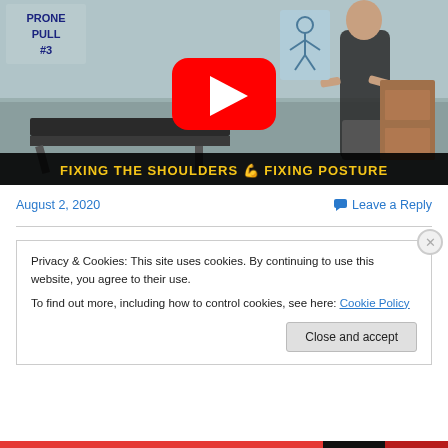[Figure (screenshot): YouTube video thumbnail showing a man in a gym/clinic room with a massage table. Text overlay reads 'PRONE PULL #3' and bottom banner reads 'FIXING THE SHOULDERS 💪 FIXING POSTURE'. A red YouTube play button is centered in the image.]
August 2, 2020
Leave a Reply
Privacy & Cookies: This site uses cookies. By continuing to use this website, you agree to their use.
To find out more, including how to control cookies, see here: Cookie Policy
Close and accept